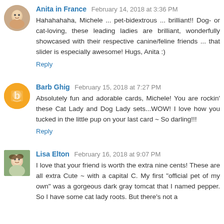Anita in France  February 14, 2018 at 3:36 PM
Hahahahaha, Michele ... pet-bidextrous ... brilliant!! Dog- or cat-loving, these leading ladies are brilliant, wonderfully showcased with their respective canine/feline friends ... that slider is especially awesome! Hugs, Anita :)
Reply
Barb Ghig  February 15, 2018 at 7:27 PM
Absolutely fun and adorable cards, Michele! You are rockin' these Cat Lady and Dog Lady sets...WOW! I love how you tucked in the little pup on your last card ~ So darling!!!
Reply
Lisa Elton  February 16, 2018 at 9:07 PM
I love that your friend is worth the extra nine cents! These are all extra Cute ~ with a capital C. My first "official pet of my own" was a gorgeous dark gray tomcat that I named pepper. So I have some cat lady roots. But there's not a